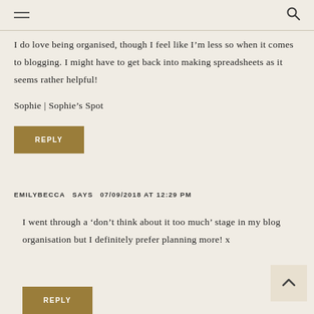Navigation header with hamburger menu and search icon
I do love being organised, though I feel like I’m less so when it comes to blogging. I might have to get back into making spreadsheets as it seems rather helpful!

Sophie | Sophie’s Spot
REPLY
EMILYBECCA SAYS   07/09/2018 AT 12:29 PM
I went through a ‘don’t think about it too much’ stage in my blog organisation but I definitely prefer planning more! x